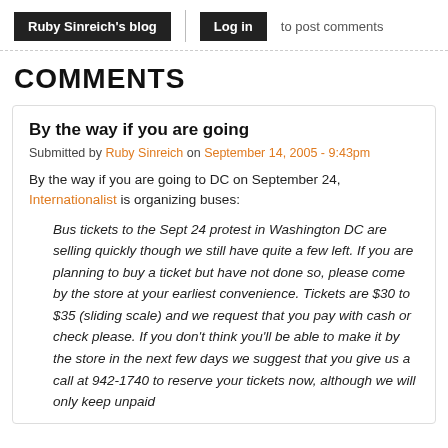Ruby Sinreich's blog | Log in to post comments
COMMENTS
By the way if you are going
Submitted by Ruby Sinreich on September 14, 2005 - 9:43pm
By the way if you are going to DC on September 24, Internationalist is organizing buses:
Bus tickets to the Sept 24 protest in Washington DC are selling quickly though we still have quite a few left. If you are planning to buy a ticket but have not done so, please come by the store at your earliest convenience. Tickets are $30 to $35 (sliding scale) and we request that you pay with cash or check please. If you don't think you'll be able to make it by the store in the next few days we suggest that you give us a call at 942-1740 to reserve your tickets now, although we will only keep unpaid